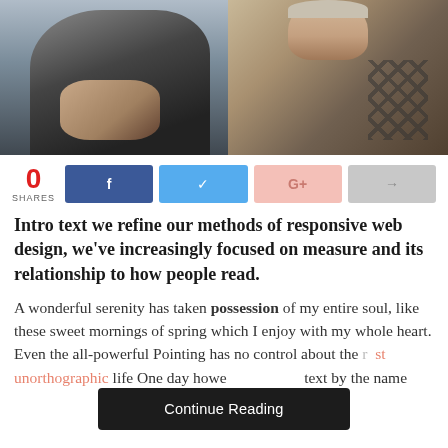[Figure (photo): A person sitting, wearing a patterned top and a watch, holding sunglasses. Background is blurred interior. Photo is cropped showing upper body.]
0 SHARES
Intro text we refine our methods of responsive web design, we've increasingly focused on measure and its relationship to how people read.
A wonderful serenity has taken possession of my entire soul, like these sweet mornings of spring which I enjoy with my whole heart. Even the all-powerful Pointing has no control about the [Continue Reading] st unorthographic life One day howe text by the name